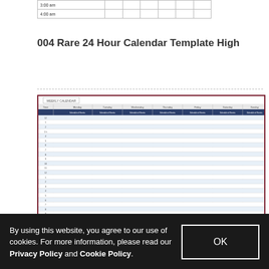| 3:00 am |  |  |  |  |  |  |
| 4:00 am |  |  |  |  |  |  |
004 Rare 24 Hour Calendar Template High
[Figure (illustration): Weekly calendar template with 24-hour time slots, dark navy header row with days of the week (Sunday through Saturday), and rows for each hour of the day. The template has a dark red/maroon border.]
By using this website, you agree to our use of cookies. For more information, please read our Privacy Policy and Cookie Policy.